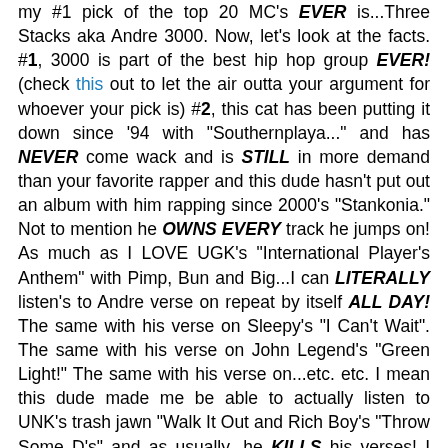my #1 pick of the top 20 MC's EVER is...Three Stacks aka Andre 3000. Now, let's look at the facts. #1, 3000 is part of the best hip hop group EVER! (check this out to let the air outta your argument for whoever your pick is) #2, this cat has been putting it down since '94 with "Southernplaya..." and has NEVER come wack and is STILL in more demand than your favorite rapper and this dude hasn't put out an album with him rapping since 2000's "Stankonia." Not to mention he OWNS EVERY track he jumps on! As much as I LOVE UGK's "International Player's Anthem" with Pimp, Bun and Big...I can LITERALLY listen's to Andre verse on repeat by itself ALL DAY! The same with his verse on Sleepy's "I Can't Wait". The same with his verse on John Legend's "Green Light!" The same with his verse on...etc. etc. I mean this dude made me be able to actually listen to UNK's trash jawn "Walk It Out and Rich Boy's "Throw Some D's" and as usually...he KILLS his verses! I mean does ANYBODY really ever need to rhyme after money?  I don't know why they took 3000's verse off Beyonce's "Party" but if I'm J. Cole you couldn't pay me enough money to replace a 3000 rhyme. That's like Ashanti trying to remake a Patti LaBelle song! #3, this dude is a walking hip hop quotable! I don't know ANY other MC who damn near every verse he's done could be...